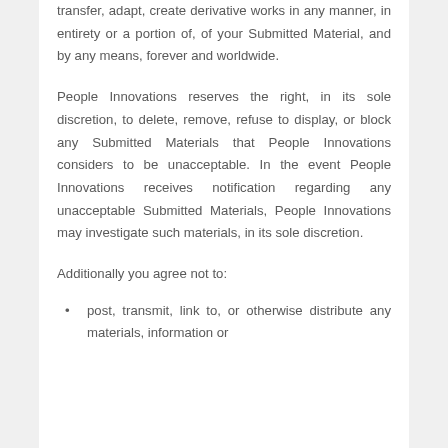transfer, adapt, create derivative works in any manner, in entirety or a portion of, of your Submitted Material, and by any means, forever and worldwide.
People Innovations reserves the right, in its sole discretion, to delete, remove, refuse to display, or block any Submitted Materials that People Innovations considers to be unacceptable. In the event People Innovations receives notification regarding any unacceptable Submitted Materials, People Innovations may investigate such materials, in its sole discretion.
Additionally you agree not to:
post, transmit, link to, or otherwise distribute any materials, information or